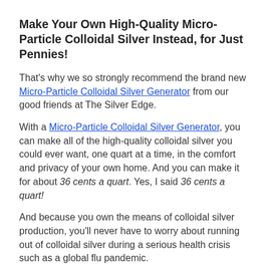Make Your Own High-Quality Micro-Particle Colloidal Silver Instead, for Just Pennies!
That's why we so strongly recommend the brand new Micro-Particle Colloidal Silver Generator from our good friends at The Silver Edge.
With a Micro-Particle Colloidal Silver Generator, you can make all of the high-quality colloidal silver you could ever want, one quart at a time, in the comfort and privacy of your own home. And you can make it for about 36 cents a quart. Yes, I said 36 cents a quart!
And because you own the means of colloidal silver production, you'll never have to worry about running out of colloidal silver during a serious health crisis such as a global flu pandemic.